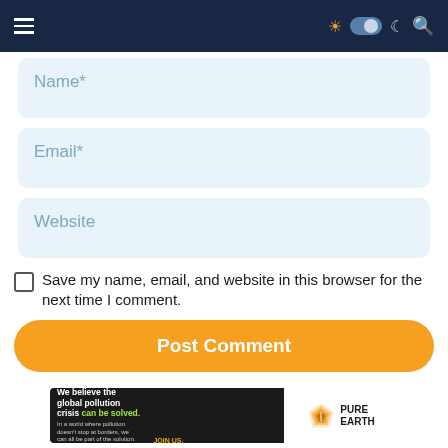[Figure (screenshot): Website navigation bar with hamburger menu on left, and icons (sun, toggle switch, moon, search) on right, on dark navy background]
Name*
Email*
Website
Save my name, email, and website in this browser for the next time I comment.
Post Comment
[Figure (illustration): Pure Earth advertisement banner: black left section with text 'We believe the global pollution crisis can be solved.' and 'In a world where pollution doesn't stop at borders, we can all be part of the solution. JOIN US.' White right section with Pure Earth diamond logo and text PURE EARTH]